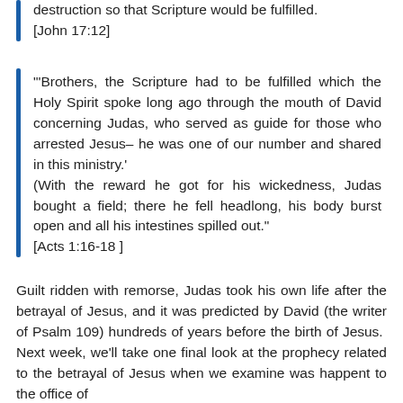destruction so that Scripture would be fulfilled. [John 17:12]
"'Brothers, the Scripture had to be fulfilled which the Holy Spirit spoke long ago through the mouth of David concerning Judas, who served as guide for those who arrested Jesus– he was one of our number and shared in this ministry.' (With the reward he got for his wickedness, Judas bought a field; there he fell headlong, his body burst open and all his intestines spilled out." [Acts 1:16-18 ]
Guilt ridden with remorse, Judas took his own life after the betrayal of Jesus, and it was predicted by David (the writer of Psalm 109) hundreds of years before the birth of Jesus.  Next week, we'll take one final look at the prophecy related to the betrayal of Jesus when we examine was happent to the office of